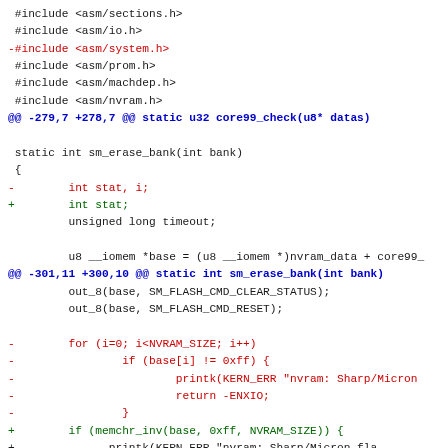Code diff showing changes to sm_erase_bank function in nvram driver, including removal of #include <asm/system.h>, removal of i variable, and replacement of for-loop with memchr_inv call.